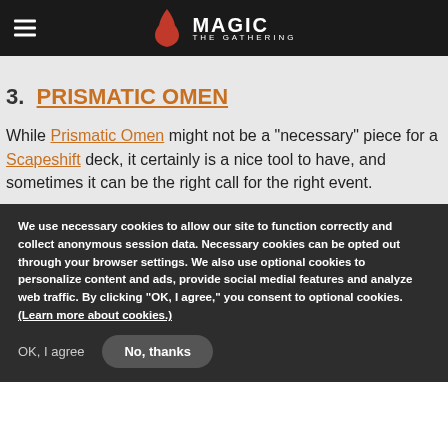Magic: The Gathering
3. PRISMATIC OMEN
While Prismatic Omen might not be a "necessary" piece for a Scapeshift deck, it certainly is a nice tool to have, and sometimes it can be the right call for the right event.
We use necessary cookies to allow our site to function correctly and collect anonymous session data. Necessary cookies can be opted out through your browser settings. We also use optional cookies to personalize content and ads, provide social medial features and analyze web traffic. By clicking “OK, I agree,” you consent to optional cookies. (Learn more about cookies.)